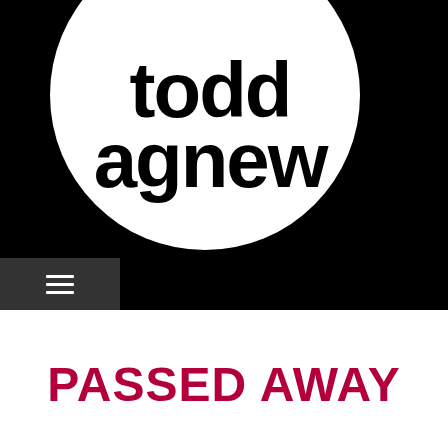[Figure (logo): Todd Agnew logo: white circle on black background with bold black text 'todd agnew' arranged in two lines inside a circle, with a dark hamburger menu button in lower left]
PASSED AWAY